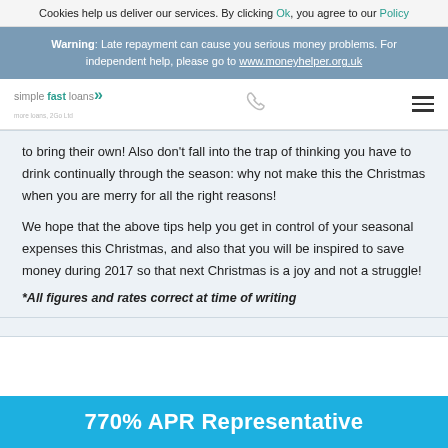Cookies help us deliver our services. By clicking Ok, you agree to our Policy
Warning: Late repayment can cause you serious money problems. For independent help, please go to www.moneyhelper.org.uk
[Figure (logo): simple fast loans logo with chevrons]
to bring their own! Also don't fall into the trap of thinking you have to drink continually through the season: why not make this the Christmas when you are merry for all the right reasons!
We hope that the above tips help you get in control of your seasonal expenses this Christmas, and also that you will be inspired to save money during 2017 so that next Christmas is a joy and not a struggle!
*All figures and rates correct at time of writing
770% APR Representative